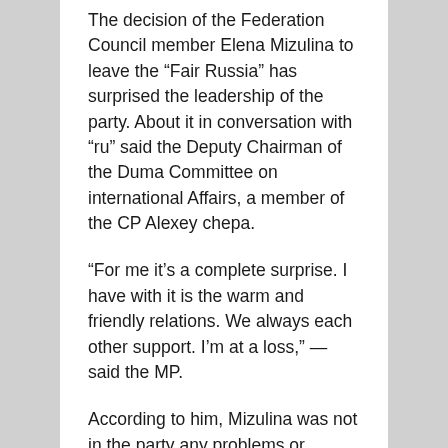The decision of the Federation Council member Elena Mizulina to leave the “Fair Russia” has surprised the leadership of the party. About it in conversation with “ru” said the Deputy Chairman of the Duma Committee on international Affairs, a member of the CP Alexey chepa.
“For me it’s a complete surprise. I have with it is the warm and friendly relations. We always each other support. I’m at a loss,” — said the MP.
According to him, Mizulina was not in the party any problems or contradictions. “All this is unexpected,” he added.